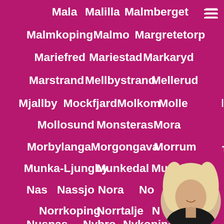Mala
Malilla
Malmberget
Malmkoping
Malmo
Margretetorp
Mariefred
Mariestad
Markaryd
Marstrand
Mellbystrand
Mellerud
Mjallby
Mockfjard
Molkom
Molle
Mollosund
Monsteras
Mora
Morbylanga
Morgongava
Morrum
Munka-Ljungby
Munkedal
Mun...
Nas
Nassjo
Nora
No...
Norrkoping
Norrtalje
N...
Nusnas
Nybro
Nykoping
Obbola
[Figure (photo): Circular avatar photo of a blonde woman in black clothing, positioned in bottom-right corner]